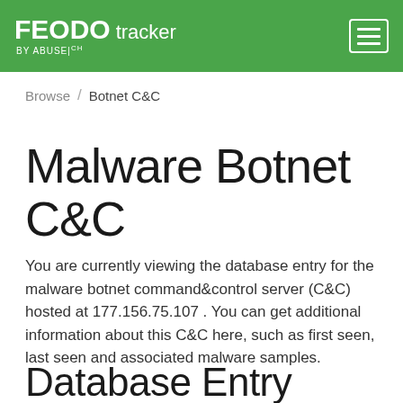FEODO tracker by ABUSE|ch
Browse / Botnet C&C
Malware Botnet C&C
You are currently viewing the database entry for the malware botnet command&control server (C&C) hosted at 177.156.75.107 . You can get additional information about this C&C here, such as first seen, last seen and associated malware samples.
Database Entry